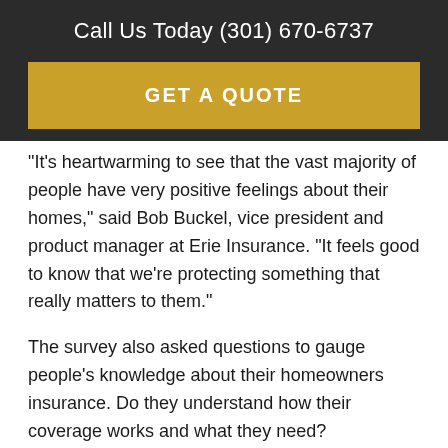Call Us Today (301) 670-6737
GET A QUOTE
"It's heartwarming to see that the vast majority of people have very positive feelings about their homes," said Bob Buckel, vice president and product manager at Erie Insurance. “It feels good to know that we’re protecting something that really matters to them.”
The survey also asked questions to gauge people’s knowledge about their homeowners insurance. Do they understand how their coverage works and what they need?